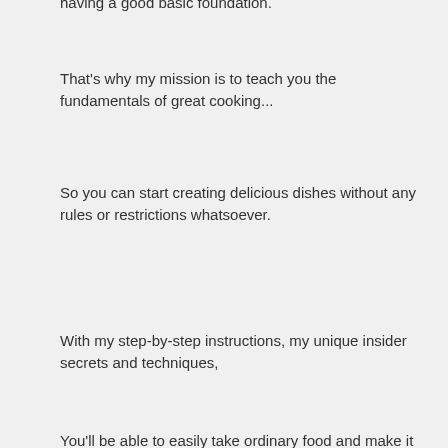having a good basic foundation.
That's why my mission is to teach you the fundamentals of great cooking...
So you can start creating delicious dishes without any rules or restrictions whatsoever.
With my step-by-step instructions, my unique insider secrets and techniques,
You'll be able to easily take ordinary food and make it extraordinary!
Food